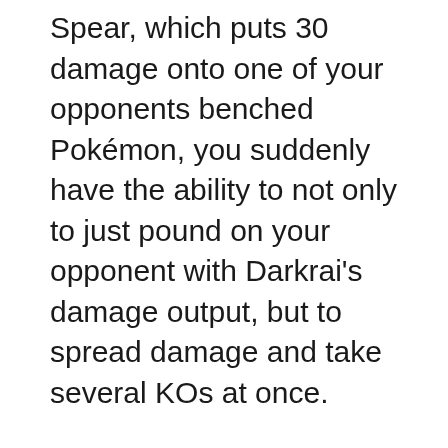Spear, which puts 30 damage onto one of your opponents benched Pokémon, you suddenly have the ability to not only to just pound on your opponent with Darkrai's damage output, but to spread damage and take several KOs at once.
For example, Registeel improves your Zekeel and Rayquaza matchups drastically, due to the fact that, with some planning ahead, you could KO three of your opponent's Elektriks at